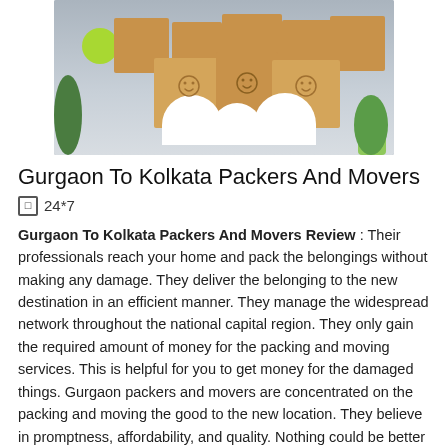[Figure (photo): Family of three sitting with cardboard boxes over their heads showing smiley faces, surrounded by moving boxes, a green clock on the wall, and plants]
Gurgaon To Kolkata Packers And Movers
24*7
Gurgaon To Kolkata Packers And Movers Review : Their professionals reach your home and pack the belongings without making any damage. They deliver the belonging to the new destination in an efficient manner. They manage the widespread network throughout the national capital region. They only gain the required amount of money for the packing and moving services. This is helpful for you to get money for the damaged things. Gurgaon packers and movers are concentrated on the packing and moving the good to the new location. They believe in promptness, affordability, and quality. Nothing could be better than hiring us for relocation purpose as They assure to relocate you to Gurgaon even before the scheduled date. Their aim is to let you stay free by handling every task related to relocation on Their own. Their